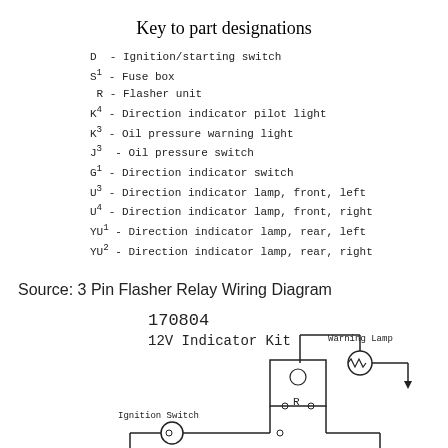Key to part designations
D - Ignition/starting switch
S1 - Fuse box
R - Flasher unit
K4 - Direction indicator pilot light
K3 - Oil pressure warning light
J3 - Oil pressure switch
G1 - Direction indicator switch
U3 - Direction indicator lamp, front, left
U4 - Direction indicator lamp, front, right
YU1 - Direction indicator lamp, rear, left
YU2 - Direction indicator lamp, rear, right
Source: 3 Pin Flasher Relay Wiring Diagram
from lh6.googleusercontent.com
[Figure (schematic): 12V Indicator Kit wiring diagram showing 170804 kit with ignition switch, flasher relay unit R, warning lamp, and indicator lamps]